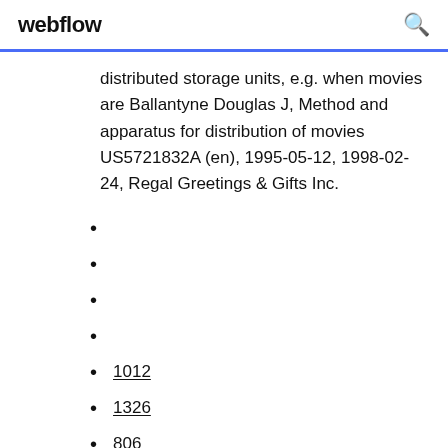webflow
distributed storage units, e.g. when movies are Ballantyne Douglas J, Method and apparatus for distribution of movies US5721832A (en), 1995-05-12, 1998-02-24, Regal Greetings & Gifts Inc.
1012
1326
806
323